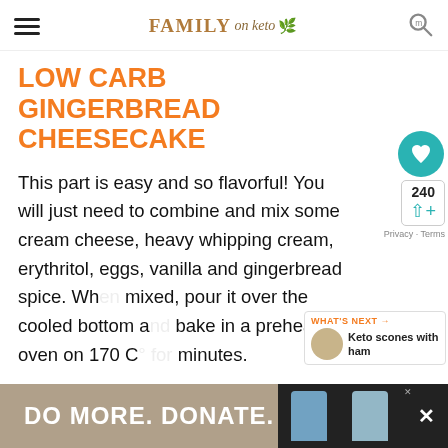FAMILY on keto
LOW CARB GINGERBREAD CHEESECAKE
This part is easy and so flavorful! You will just need to combine and mix some cream cheese, heavy whipping cream, erythritol, eggs, vanilla and gingerbread spice. When mixed, pour it over the cooled bottom and bake in a preheated oven on 170 C for minutes.
[Figure (other): Advertisement bar: DO MORE. DONATE. with figures and close button]
DO MORE. DONATE.